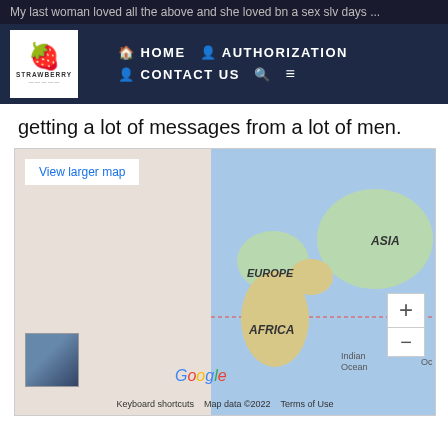My last woman loved all the above and she loved bn a sex slv days ...
[Figure (screenshot): Website navigation bar with Strawberry logo, HOME, AUTHORIZATION, CONTACT US, search and menu icons on dark navy background]
getting a lot of messages from a lot of men.
[Figure (map): Google Maps screenshot showing world map with Europe, Asia, Africa, Indian Ocean labeled. Includes View larger map button, zoom controls (+/-), Google logo, thumbnail image, Keyboard shortcuts, Map data ©2022, Terms of Use footer]